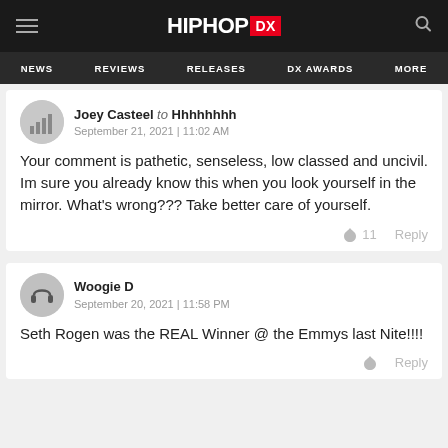HIPHOP DX — NEWS | REVIEWS | RELEASES | DX AWARDS | MORE
Joey Casteel to Hhhhhhhh
September 21, 2021 | 11:02 AM

Your comment is pathetic, senseless, low classed and uncivil. Im sure you already know this when you look yourself in the mirror. What's wrong??? Take better care of yourself.

🔥 11   Reply
Woogie D
September 20, 2021 | 11:58 PM

Seth Rogen was the REAL Winner @ the Emmys last Nite!!!!

🔥   Reply